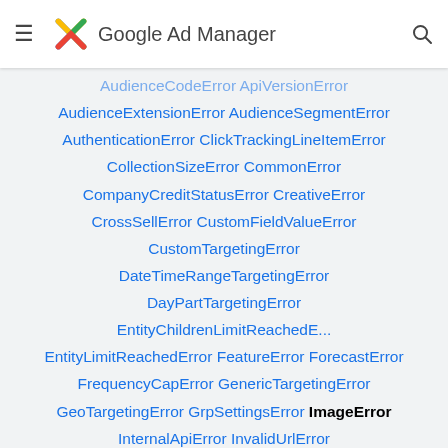Google Ad Manager
AudienceCodeError ApiVersionError
AudienceExtensionError AudienceSegmentError
AuthenticationError ClickTrackingLineItemError
CollectionSizeError CommonError
CompanyCreditStatusError CreativeError
CrossSellError CustomFieldValueError
CustomTargetingError
DateTimeRangeTargetingError
DayPartTargetingError
EntityChildrenLimitReachedE...
EntityLimitReachedError FeatureError ForecastError
FrequencyCapError GenericTargetingError
GeoTargetingError GrpSettingsError ImageError
InternalApiError InvalidUrlError
InventoryTargetingError InventoryUnitError
LabelEntityAssociationError
LineItemActivityAssociation...